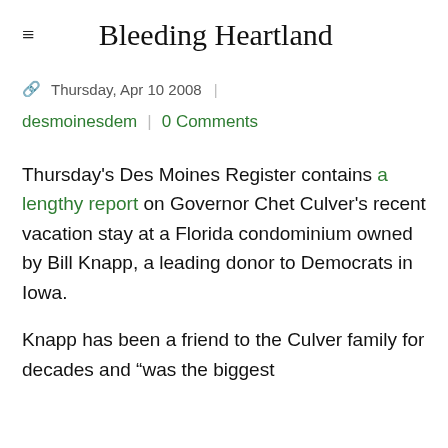Bleeding Heartland
Thursday, Apr 10 2008
desmoinesdem | 0 Comments
Thursday's Des Moines Register contains a lengthy report on Governor Chet Culver's recent vacation stay at a Florida condominium owned by Bill Knapp, a leading donor to Democrats in Iowa.
Knapp has been a friend to the Culver family for decades and "was the biggest